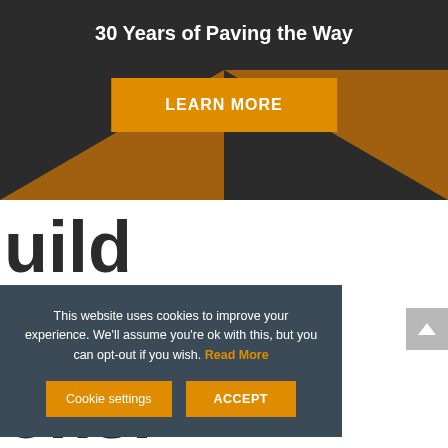30 Years of Paving the Way
LEARN MORE
[Figure (screenshot): Partially visible background text behind cookie overlay showing fragments: 'uild', 'e and', 'ons.']
This website uses cookies to improve your experience. We'll assume you're ok with this, but you can opt-out if you wish. Read More
Cookie settings
ACCEPT